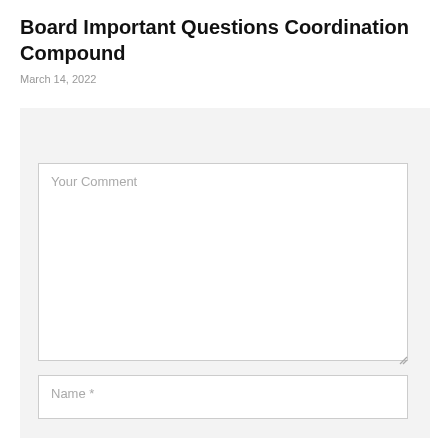Board Important Questions Coordination Compound
March 14, 2022
LEAVE A REPLY
Your Comment
Name *